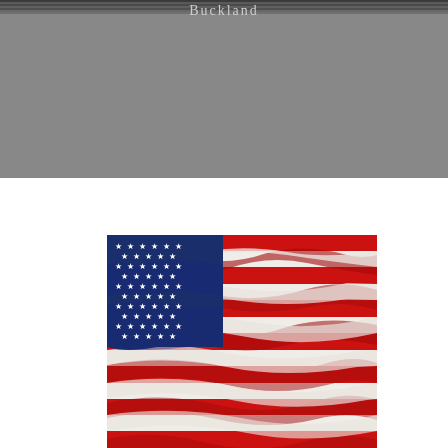Buckland
[Figure (photo): Photograph of an American flag waving, showing red and white stripes and blue canton with white stars]